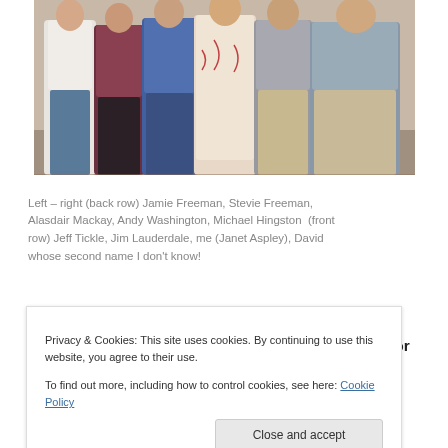[Figure (photo): Group photo showing several people standing in two rows against a wall. Multiple people visible from roughly waist up, wearing various patterned shirts and tops.]
Left – right (back row) Jamie Freeman, Stevie Freeman, Alasdair Mackay, Andy Washington, Michael Hingston  (front row) Jeff Tickle, Jim Lauderdale, me (Janet Aspley), David whose second name I don't know!
It seemed wrong that Jim didn't have a new shirt for his tour, so the following week we picked out a print from
Privacy & Cookies: This site uses cookies. By continuing to use this website, you agree to their use.
To find out more, including how to control cookies, see here: Cookie Policy
and you can see more of it here: sublackwell.co.uk